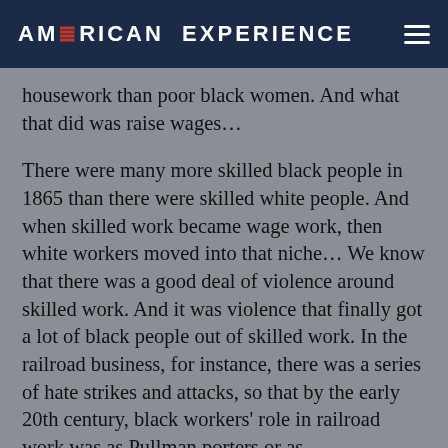AMERICAN EXPERIENCE
housework than poor black women. And what that did was raise wages…
There were many more skilled black people in 1865 than there were skilled white people. And when skilled work became wage work, then white workers moved into that niche… We know that there was a good deal of violence around skilled work. And it was violence that finally got a lot of black people out of skilled work. In the railroad business, for instance, there was a series of hate strikes and attacks, so that by the early 20th century, black workers' role in railroad work was as Pullman porters or as